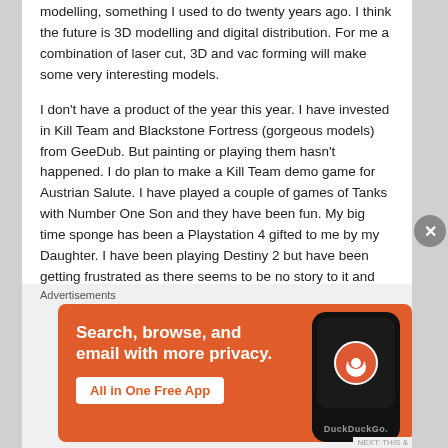modelling, something I used to do twenty years ago. I think the future is 3D modelling and digital distribution. For me a combination of laser cut, 3D and vac forming will make some very interesting models.
I don't have a product of the year this year. I have invested in Kill Team and Blackstone Fortress (gorgeous models) from GeeDub. But painting or playing them hasn't happened. I do plan to make a Kill Team demo game for Austrian Salute. I have played a couple of games of Tanks with Number One Son and they have been fun. My big time sponge has been a Playstation 4 gifted to me by my Daughter. I have been playing Destiny 2 but have been getting frustrated as there seems to be no story to it and you have to be online to play. The
Advertisements
[Figure (illustration): DuckDuckGo advertisement banner with orange background. Text reads: 'Search, browse, and email with more privacy. All in One Free App'. Shows a smartphone with DuckDuckGo logo.]